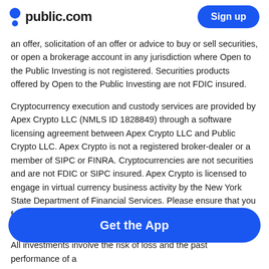public.com  Sign up
an offer, solicitation of an offer or advice to buy or sell securities, or open a brokerage account in any jurisdiction where Open to the Public Investing is not registered. Securities products offered by Open to the Public Investing are not FDIC insured.
Cryptocurrency execution and custody services are provided by Apex Crypto LLC (NMLS ID 1828849) through a software licensing agreement between Apex Crypto LLC and Public Crypto LLC. Apex Crypto is not a registered broker-dealer or a member of SIPC or FINRA. Cryptocurrencies are not securities and are not FDIC or SIPC insured. Apex Crypto is licensed to engage in virtual currency business activity by the New York State Department of Financial Services. Please ensure that you fully understand the risks involved before trading: Legal Disclosures
Commission-free trading of stocks and ETFs refers to $0 commissions for Open to the Public Investing self-directed individual cash brokerage accounts that trade the U.S. listed securities electronically. Keep in mind, that other fees such as regulatory fees, Premium subscription fees, wire transfer fees, and paper statement fees may apply to your brokerage
All investments involve the risk of loss and the past performance of a